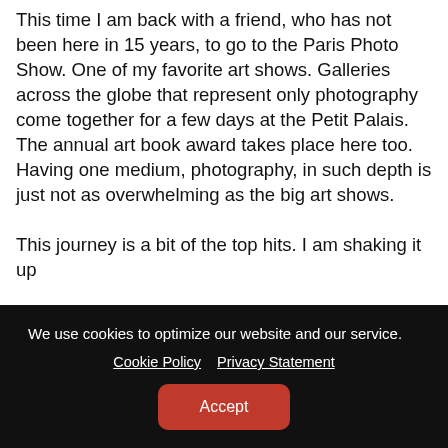This time I am back with a friend, who has not been here in 15 years, to go to the Paris Photo Show. One of my favorite art shows. Galleries across the globe that represent only photography come together for a few days at the Petit Palais. The annual art book award takes place here too. Having one medium, photography, in such depth is just not as overwhelming as the big art shows.

This journey is a bit of the top hits. I am shaking it up
We use cookies to optimize our website and our service.
Cookie Policy   Privacy Statement
Accept